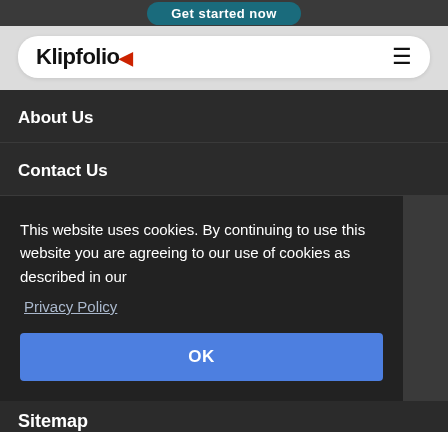Get started now
[Figure (logo): Klipfolio logo with red arrow mark and hamburger menu icon]
About Us
Contact Us
This website uses cookies. By continuing to use this website you are agreeing to our use of cookies as described in our Privacy Policy
OK
Sitemap